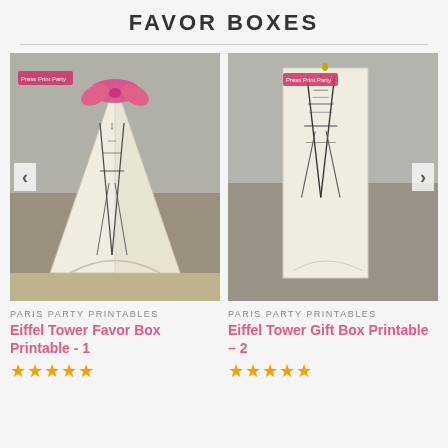FAVOR BOXES
[Figure (photo): Eiffel Tower favor box printable in pyramid shape with pink ribbon bow, Paris-themed background]
[Figure (photo): Eiffel Tower gift box printable flat/assembled version, Paris-themed background]
PARIS PARTY PRINTABLES
Eiffel Tower Favor Box Printable - 1
PARIS PARTY PRINTABLES
Eiffel Tower Gift Box Printable – 2